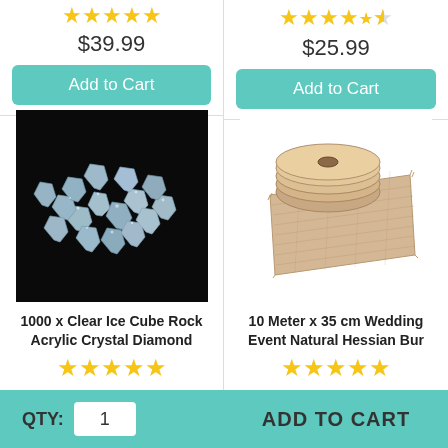[Figure (other): Star rating - 5 gold stars for left product (top)]
$39.99
Add to Cart
[Figure (other): Star rating - 4.5 gold stars for right product (top)]
$25.99
Add to Cart
[Figure (photo): 1000 x Clear Ice Cube Rock Acrylic Crystal Diamond - photo of clear crystal pieces scattered on black background]
[Figure (photo): 10 Meter x 35 cm Wedding Event Natural Hessian Bur - photo of a rolled burlap fabric runner]
1000 x Clear Ice Cube Rock Acrylic Crystal Diamond
10 Meter x 35 cm Wedding Event Natural Hessian Bur
[Figure (other): Star rating - 5 gold stars for left product (bottom)]
[Figure (other): Star rating - 5 gold stars for right product (bottom)]
QTY: 1
ADD TO CART